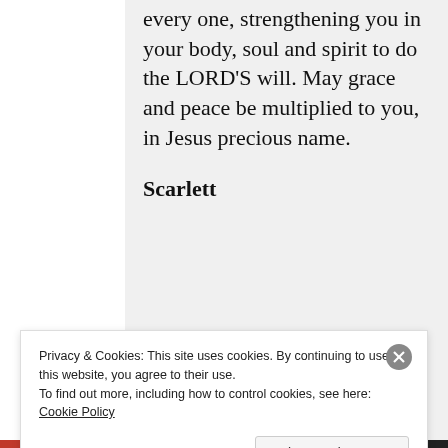every one, strengthening you in your body, soul and spirit to do the LORD'S will. May grace and peace be multiplied to you, in Jesus precious name.

Scarlett
MARCH 6, 2013 AT 11:11 AM
REPLY
Privacy & Cookies: This site uses cookies. By continuing to use this website, you agree to their use.
To find out more, including how to control cookies, see here: Cookie Policy
Close and accept